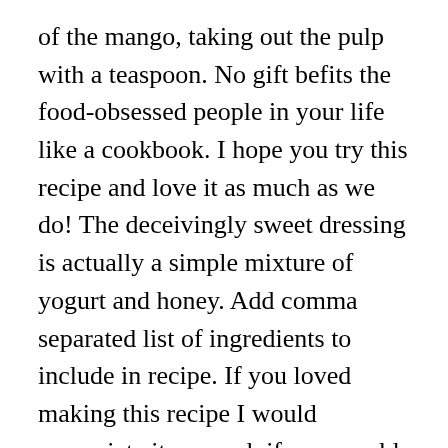of the mango, taking out the pulp with a teaspoon. No gift befits the food-obsessed people in your life like a cookbook. I hope you try this recipe and love it as much as we do! The deceivingly sweet dressing is actually a simple mixture of yogurt and honey. Add comma separated list of ingredients to include in recipe. If you loved making this recipe I would appreciate it so much if you would give this recipe a star review! I liked it that way much much better and so did my family. My son is 3, and he's a great helper! Moreover, I cut the fruit so it's easier for little mouths to pick up on a spoon and eat. You can also mix fruit with cheese and nuts in savoury salads. Spoon the fruit into serving bowls and top with